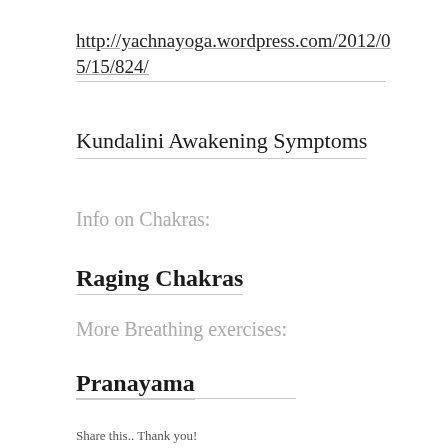http://yachnayoga.wordpress.com/2012/05/15/824/
Kundalini Awakening Symptoms
Info on Chakras:
Raging Chakras
More Breathing exercises:
Pranayama
Share this.. Thank you!